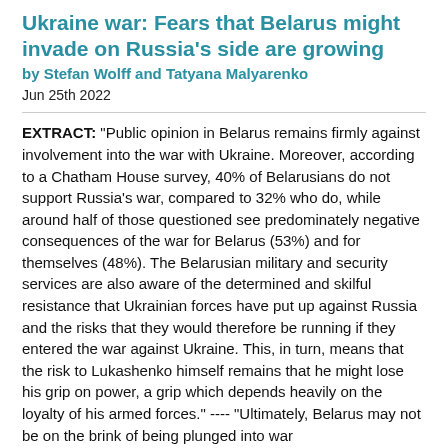Ukraine war: Fears that Belarus might invade on Russia's side are growing
by Stefan Wolff and Tatyana Malyarenko
Jun 25th 2022
EXTRACT: "Public opinion in Belarus remains firmly against involvement into the war with Ukraine. Moreover, according to a Chatham House survey, 40% of Belarusians do not support Russia's war, compared to 32% who do, while around half of those questioned see predominately negative consequences of the war for Belarus (53%) and for themselves (48%). The Belarusian military and security services are also aware of the determined and skilful resistance that Ukrainian forces have put up against Russia and the risks that they would therefore be running if they entered the war against Ukraine. This, in turn, means that the risk to Lukashenko himself remains that he might lose his grip on power, a grip which depends heavily on the loyalty of his armed forces." ---- "Ultimately, Belarus may not be on the brink of being plunged into war